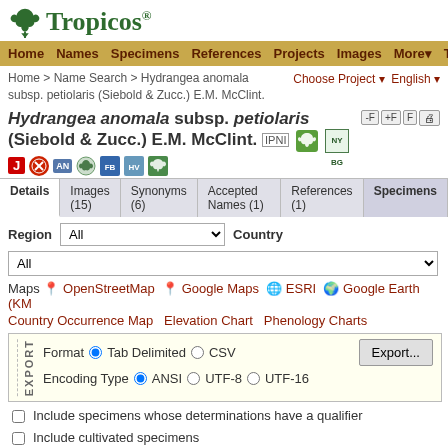[Figure (logo): Tropicos logo with green plant icon and serif text]
Home Names Specimens References Projects Images More Tools
Home > Name Search > Hydrangea anomala subsp. petiolaris (Siebold & Zucc.) E.M. McClint.
Hydrangea anomala subsp. petiolaris (Siebold & Zucc.) E.M. McClint. IPNI
[Figure (logo): Database badge icons: J, red circle, AN, leaf icons, FB, HV, NYBG plant icon]
| Details | Images (15) | Synonyms (6) | Accepted Names (1) | References (1) | Specimens |
| --- | --- | --- | --- | --- | --- |
Region All Country
All
Maps OpenStreetMap Google Maps ESRI Google Earth (KM
Country Occurrence Map  Elevation Chart  Phenology Charts
EXPORT Format Tab Delimited CSV Encoding Type ANSI UTF-8 UTF-16 Export...
Include specimens whose determinations have a qualifier
Include cultivated specimens
Include specimens for autonyms plus basionym and combinations base